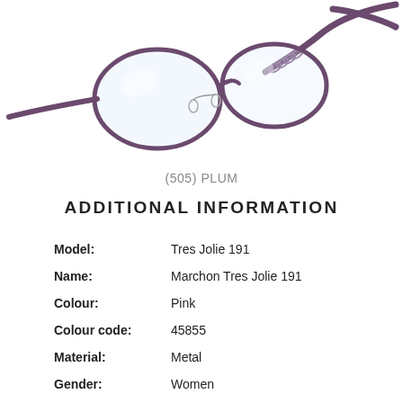[Figure (photo): Photograph of plum-colored metal eyeglasses (Marchon Tres Jolie 191), showing the frame and one temple arm, cropped at top portion of page.]
(505) PLUM
ADDITIONAL INFORMATION
| Model: | Tres Jolie 191 |
| Name: | Marchon Tres Jolie 191 |
| Colour: | Pink |
| Colour code: | 45855 |
| Material: | Metal |
| Gender: | Women |